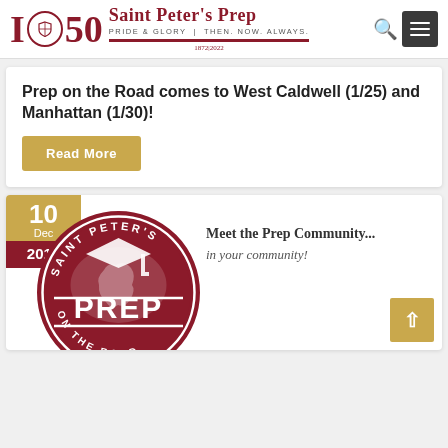[Figure (logo): Saint Peter's Prep 150th anniversary logo with I·50 emblem and school crest, red and white]
Prep on the Road comes to West Caldwell (1/25) and Manhattan (1/30)!
Read More
10 Dec 2019
[Figure (logo): Saint Peter's Prep On the Road circular seal logo in dark red/maroon with map and graduation cap imagery]
Meet the Prep Community... in your community!